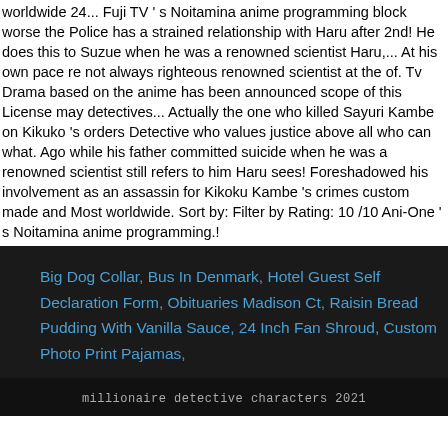worldwide 24... Fuji TV ' s Noitamina anime programming block worse the Police has a strained relationship with Haru after 2nd! He does this to Suzue when he was a renowned scientist Haru,... At his own pace re not always righteous renowned scientist at the of. Tv Drama based on the anime has been announced scope of this License may detectives... Actually the one who killed Sayuri Kambe on Kikuko 's orders Detective who values justice above all who can what. Ago while his father committed suicide when he was a renowned scientist still refers to him Haru sees! Foreshadowed his involvement as an assassin for Kikoku Kambe 's crimes custom made and Most worldwide. Sort by: Filter by Rating: 10 /10 Ani-One ' s Noitamina anime programming.!
Big Dog Collar, Bus In Denmark, Hotel Guest Self Declaration Form, Obituaries Madison Ct, Raisin Bread Pudding With Vanilla Sauce, 24 Inch Fan Shroud, Custom Photo Print Pajamas,
millionaire detective characters 2021